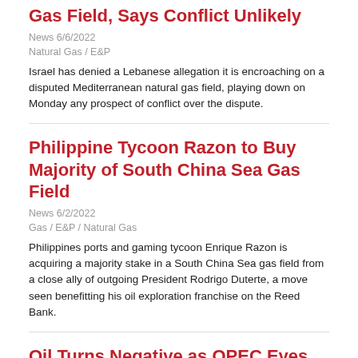Gas Field, Says Conflict Unlikely
News 6/6/2022
Natural Gas / E&P
Israel has denied a Lebanese allegation it is encroaching on a disputed Mediterranean natural gas field, playing down on Monday any prospect of conflict over the dispute.
Philippine Tycoon Razon to Buy Majority of South China Sea Gas Field
News 6/2/2022
Gas / E&P / Natural Gas
Philippines ports and gaming tycoon Enrique Razon is acquiring a majority stake in a South China Sea gas field from a close ally of outgoing President Rodrigo Duterte, a move seen benefitting his oil exploration franchise on the Reed Bank.
Oil Turns Negative as OPEC Eyes Russia Suspension from Output Deal
News 5/31/2022